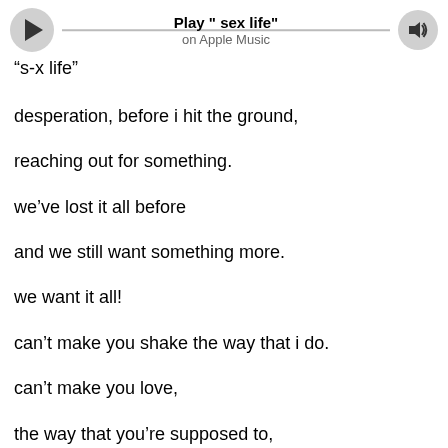[Figure (other): Music player bar with play button, track title 'Play " sex life"', 'on Apple Music' subtitle, progress line, and volume button]
“s-x life”
desperation, before i hit the ground,
reaching out for something.
we’ve lost it all before
and we still want something more.
we want it all!

can’t make you shake the way that i do.
can’t make you love,
the way that you’re supposed to,
and when you come crawling back,
you’ll see we can’t change the past.
for the first time
i see you for who you really are.